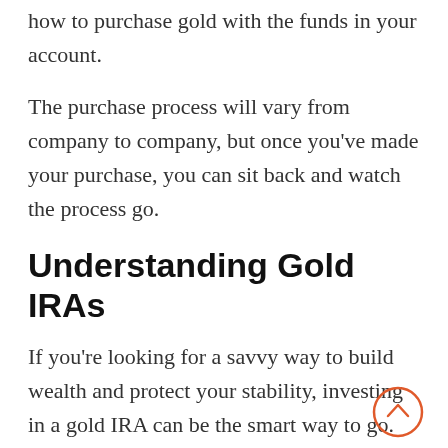how to purchase gold with the funds in your account.
The purchase process will vary from company to company, but once you've made your purchase, you can sit back and watch the process go.
Understanding Gold IRAs
If you're looking for a savvy way to build wealth and protect your stability, investing in a gold IRA can be the smart way to go. The above information an help you understand how best to go about opening this kind of account.
Need more financial advice and information?